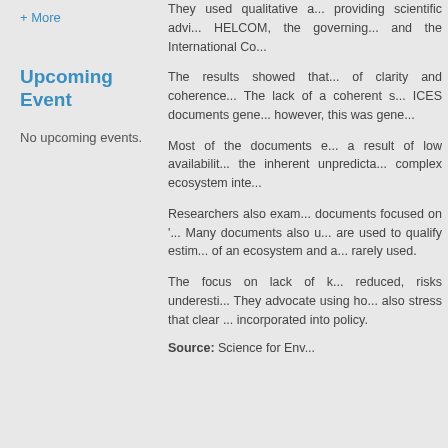+ More
Upcoming Event
No upcoming events.
They used qualitative a... providing scientific advi... HELCOM, the governing... and the International Co...
The results showed that... of clarity and coherence... The lack of a coherent s... ICES documents gene... however, this was gene...
Most of the documents e... a result of low availabilit... the inherent unpredicta... complex ecosystem inte...
Researchers also exam... documents focused on '... Many documents also u... are used to qualify estim... of an ecosystem and a... rarely used.
The focus on lack of k... reduced, risks underesti... They advocate using ho... also stress that clear ... incorporated into policy.
Source: Science for Env...